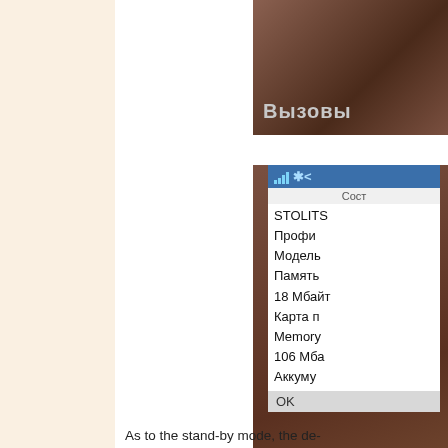[Figure (screenshot): Partial photo showing text 'Вызовы' on dark background]
[Figure (screenshot): Mobile phone screen showing status info in Russian with fields: STOLITS, Профил, Модель, Память, 18 Мбайт, Карта п, Memory, 106 Мба, Аккуму, OK]
As to the stand-by mode, the de-